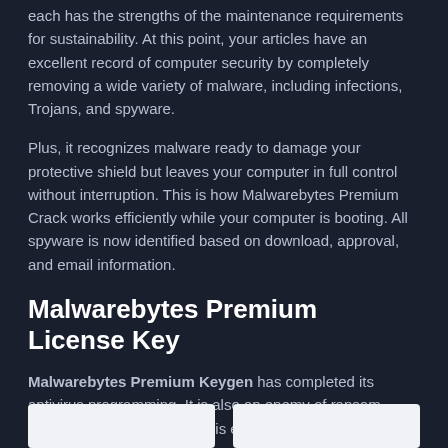each has the strengths of the maintenance requirements for sustainability. At this point, your articles have an excellent record of computer security by completely removing a wide variety of malware, including infections, Trojans, and spyware.
Plus, it recognizes malware ready to damage your protective shield but leaves your computer in full control without interruption. This is how Malwarebytes Premium Crack works efficiently while your computer is booting. All spyware is now identified based on download, approval, and email information.
Malwarebytes Premium License Key
Malwarebytes Premium Keygen has completed its antivirus programming. It is also an enemy of ransom programs and insurance. This extension guarantees online that you can be added to the website. This application provides the ability to search and detect results, deleted damage, malware, and other threats for abnormal conditions.